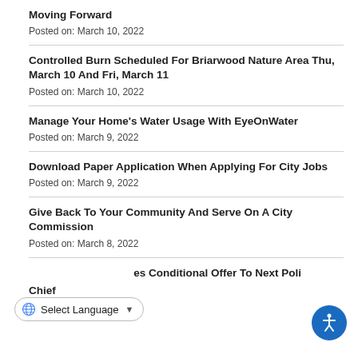Moving Forward
Posted on: March 10, 2022
Controlled Burn Scheduled For Briarwood Nature Area Thu, March 10 And Fri, March 11
Posted on: March 10, 2022
Manage Your Home's Water Usage With EyeOnWater
Posted on: March 9, 2022
Download Paper Application When Applying For City Jobs
Posted on: March 9, 2022
Give Back To Your Community And Serve On A City Commission
Posted on: March 8, 2022
…es Conditional Offer To Next Police Chief